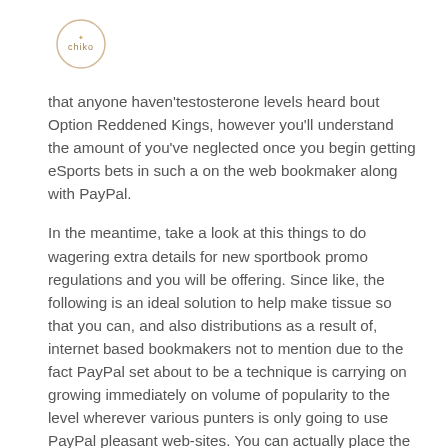[Figure (logo): Circular logo with 'chiko' text inside a beige/cream bordered circle with a small decorative element at top]
that anyone haven'testosterone levels heard bout Option Reddened Kings, however you'll understand the amount of you've neglected once you begin getting eSports bets in such a on the web bookmaker along with PayPal.
In the meantime, take a look at this things to do wagering extra details for new sportbook promo regulations and you will be offering. Since like, the following is an ideal solution to help make tissue so that you can, and also distributions as a result of, internet based bookmakers not to mention due to the fact PayPal set about to be a technique is carrying on growing immediately on volume of popularity to the level wherever various punters is only going to use PayPal pleasant web-sites. You can actually place the in-have pleasurable chance although profiting from an important gaming prize allow all on your own mobile, along with make merry inside the action with a live stream. Because major security precautions and additionally anonymity, it can be gaining extra volume of